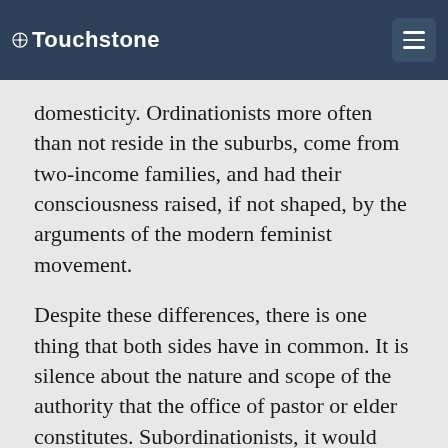Touchstone
domesticity. Ordinationists more often than not reside in the suburbs, come from two-income families, and had their consciousness raised, if not shaped, by the arguments of the modern feminist movement.
Despite these differences, there is one thing that both sides have in common. It is silence about the nature and scope of the authority that the office of pastor or elder constitutes. Subordinationists, it would seem, have